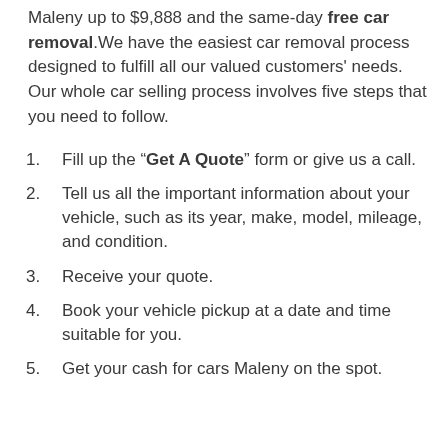Maleny up to $9,888 and the same-day free car removal. We have the easiest car removal process designed to fulfill all our valued customers' needs. Our whole car selling process involves five steps that you need to follow.
1. Fill up the "Get A Quote" form or give us a call.
2. Tell us all the important information about your vehicle, such as its year, make, model, mileage, and condition.
3. Receive your quote.
4. Book your vehicle pickup at a date and time suitable for you.
5. Get your cash for cars Maleny on the spot.